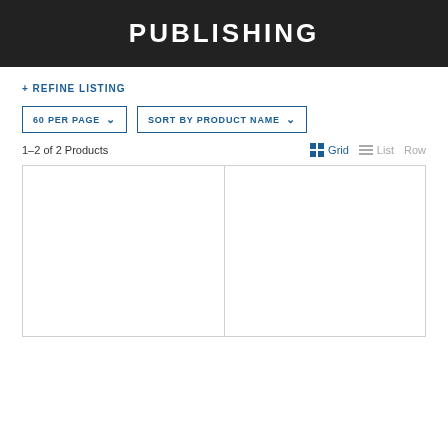PUBLISHING
+ REFINE LISTING
60 PER PAGE   SORT BY PRODUCT NAME
1–2 of 2 Products
Grid  List  Row
[Figure (other): Two empty product card placeholders in a grid layout]